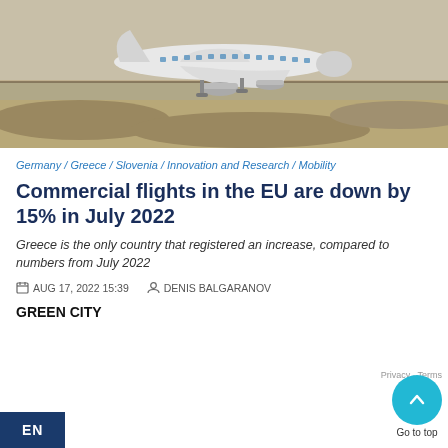[Figure (photo): Aerial/ground view of a commercial airplane on a runway with sandy/arid terrain in background]
Germany / Greece / Slovenia / Innovation and Research / Mobility
Commercial flights in the EU are down by 15% in July 2022
Greece is the only country that registered an increase, compared to numbers from July 2022
AUG 17, 2022 15:39   DENIS BALGARANOV
GREEN CITY